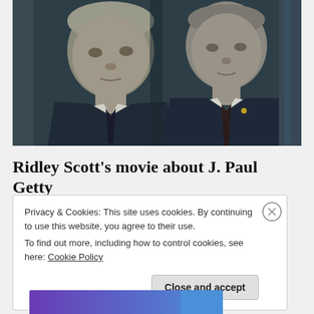[Figure (photo): Two elderly men in dark suits and ties standing side by side, appearing to be from a film still. Dimly lit, cinematic look.]
Ridley Scott's movie about J. Paul Getty
Privacy & Cookies: This site uses cookies. By continuing to use this website, you agree to their use.
To find out more, including how to control cookies, see here: Cookie Policy
Close and accept